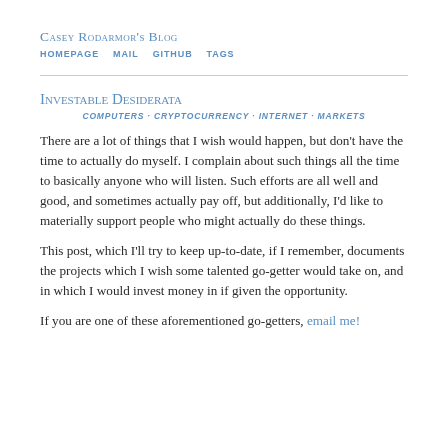Casey Rodarmor's Blog
HOMEPAGE   MAIL   GITHUB   TAGS
Investable Desiderata
COMPUTERS · CRYPTOCURRENCY · INTERNET · MARKETS
There are a lot of things that I wish would happen, but don't have the time to actually do myself. I complain about such things all the time to basically anyone who will listen. Such efforts are all well and good, and sometimes actually pay off, but additionally, I'd like to materially support people who might actually do these things.
This post, which I'll try to keep up-to-date, if I remember, documents the projects which I wish some talented go-getter would take on, and in which I would invest money in if given the opportunity.
If you are one of these aforementioned go-getters, email me!